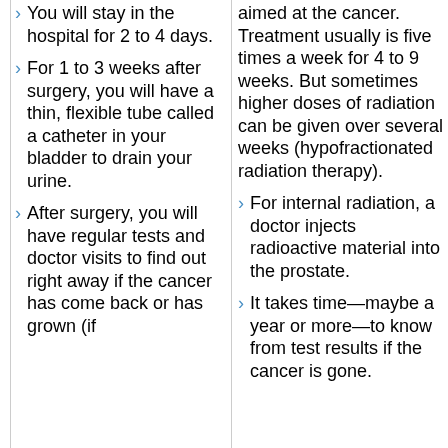You will stay in the hospital for 2 to 4 days.
For 1 to 3 weeks after surgery, you will have a thin, flexible tube called a catheter in your bladder to drain your urine.
After surgery, you will have regular tests and doctor visits to find out right away if the cancer has come back or has grown (if
aimed at the cancer. Treatment usually is five times a week for 4 to 9 weeks. But sometimes higher doses of radiation can be given over several weeks (hypofractionated radiation therapy).
For internal radiation, a doctor injects radioactive material into the prostate.
It takes time—maybe a year or more—to know from test results if the cancer is gone.